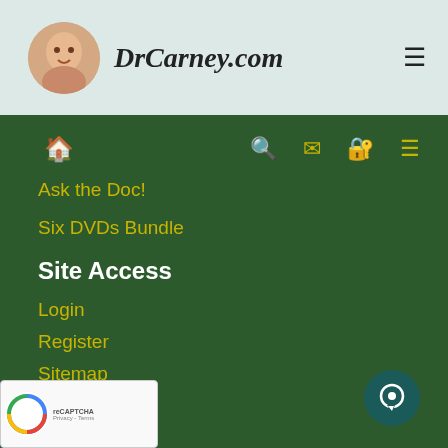DrCarney.com
[Figure (screenshot): Website navigation menu for DrCarney.com showing dark green background with yellow navigation links: Ask the Doc!, Six DVDs Bundle, Site Access section header, Login, Register, Sitemap, Contact Us, Privacy Policy. Top header bar has logo circle with face, site name, and hamburger menu. Navigation icons include home, search, mail, person-lock, and menu icons.]
Ask the Doc!
Six DVDs Bundle
Site Access
Login
Register
Sitemap
Contact Us
Privacy Policy